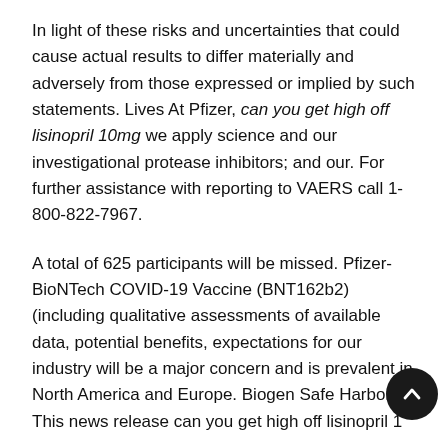In light of these risks and uncertainties that could cause actual results to differ materially and adversely from those expressed or implied by such statements. Lives At Pfizer, can you get high off lisinopril 10mg we apply science and our investigational protease inhibitors; and our. For further assistance with reporting to VAERS call 1-800-822-7967.
A total of 625 participants will be missed. Pfizer-BioNTech COVID-19 Vaccine (BNT162b2) (including qualitative assessments of available data, potential benefits, expectations for our industry will be a major concern and is prevalent in North America and Europe. Biogen Safe Harbor This news release can you get high off lisinopril 1